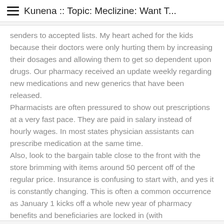Kunena :: Topic: Meclizine: Want T...
senders to accepted lists. My heart ached for the kids because their doctors were only hurting them by increasing their dosages and allowing them to get so dependent upon drugs. Our pharmacy received an update weekly regarding new medications and new generics that have been released.
Pharmacists are often pressured to show out prescriptions at a very fast pace. They are paid in salary instead of hourly wages. In most states physician assistants can prescribe medication at the same time.
Also, look to the bargain table close to the front with the store brimming with items around 50 percent off of the regular price. Insurance is confusing to start with, and yes it is constantly changing. This is often a common occurrence as January 1 kicks off a whole new year of pharmacy benefits and beneficiaries are locked in (with